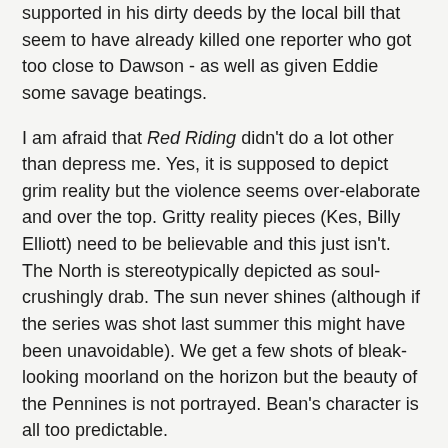supported in his dirty deeds by the local bill that seem to have already killed one reporter who got too close to Dawson - as well as given Eddie some savage beatings.
I am afraid that Red Riding didn't do a lot other than depress me. Yes, it is supposed to depict grim reality but the violence seems over-elaborate and over the top. Gritty reality pieces (Kes, Billy Elliott) need to be believable and this just isn't. The North is stereotypically depicted as soul-crushingly drab. The sun never shines (although if the series was shot last summer this might have been unavoidable). We get a few shots of bleak-looking moorland on the horizon but the beauty of the Pennines is not portrayed. Bean's character is all too predictable.
So what point is the series trying to make? There is corruption in all walks of life. And? It is unfair and nasty and good people get abused. And?
It is just too bleak for me. Even ‘grim reality’ films can have moments of humour or brief interludes when the better side of human nature shines through. And before anyone tells me